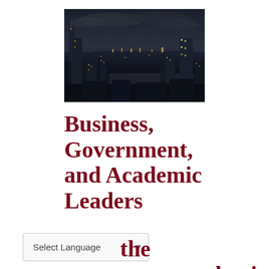[Figure (photo): Aerial nighttime photo of Hong Kong skyline with harbor, skyscrapers lit up, overcast sky, dark moody atmosphere]
Business, Government, and Academic Leaders on the post-pandemic